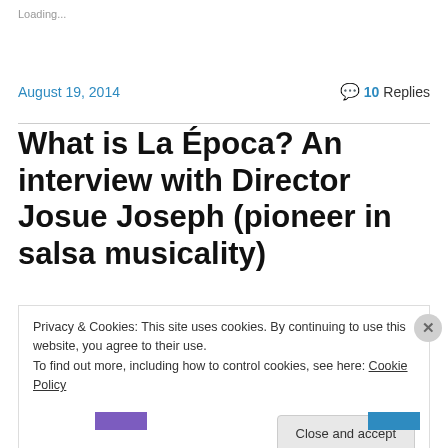Loading...
August 19, 2014
10 Replies
What is La Época? An interview with Director Josue Joseph (pioneer in salsa musicality)
Privacy & Cookies: This site uses cookies. By continuing to use this website, you agree to their use.
To find out more, including how to control cookies, see here: Cookie Policy
Close and accept